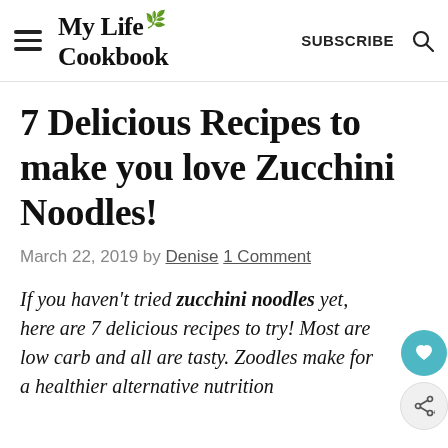My Life Cookbook
7 Delicious Recipes to make you love Zucchini Noodles!
March 22, 2019 by Denise 1 Comment
If you haven't tried zucchini noodles yet, here are 7 delicious recipes to try! Most are low carb and all are tasty. Zoodles make for a healthier alternative nutrition...